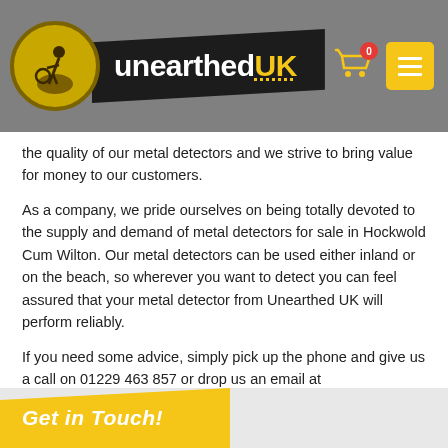Unearthed UK — header with logo, cart and menu
the quality of our metal detectors and we strive to bring value for money to our customers.
As a company, we pride ourselves on being totally devoted to the supply and demand of metal detectors for sale in Hockwold Cum Wilton. Our metal detectors can be used either inland or on the beach, so wherever you want to detect you can feel assured that your metal detector from Unearthed UK will perform reliably.
If you need some advice, simply pick up the phone and give us a call on 01229 463 857 or drop us an email at uneartheduk@gmail.com. We get out there and use our metal detecting equipment, so you can rest assured that you will receive the best expert knowledge there is.
Get in Touch!